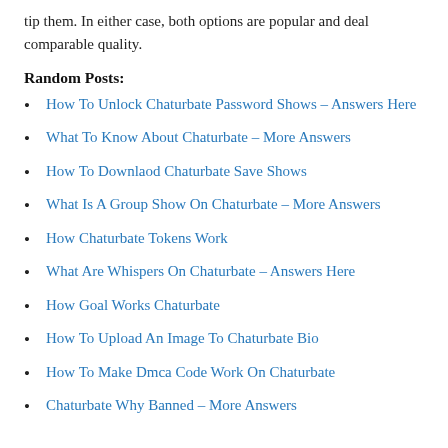tip them. In either case, both options are popular and deal comparable quality.
Random Posts:
How To Unlock Chaturbate Password Shows – Answers Here
What To Know About Chaturbate – More Answers
How To Downlaod Chaturbate Save Shows
What Is A Group Show On Chaturbate – More Answers
How Chaturbate Tokens Work
What Are Whispers On Chaturbate – Answers Here
How Goal Works Chaturbate
How To Upload An Image To Chaturbate Bio
How To Make Dmca Code Work On Chaturbate
Chaturbate Why Banned – More Answers
If you 're looking for a method to link with thousands of individuals online, Chaturbate might be the ideal option. Regardless of this